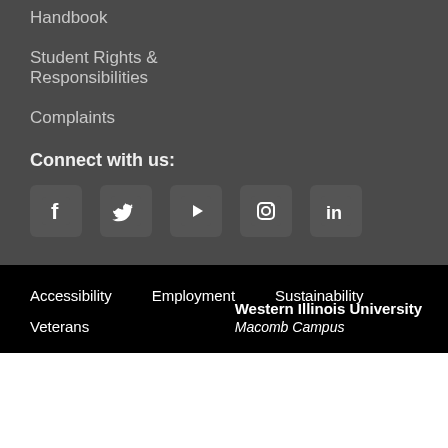Handbook
Student Rights & Responsibilities
Complaints
Connect with us:
[Figure (infographic): Social media icons: Facebook, Twitter, YouTube, Instagram, LinkedIn]
Accessibility
Employment
Sustainability
Veterans
Western Illinois University
Macomb Campus